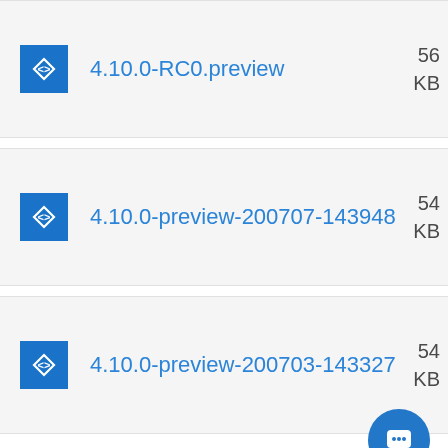4.10.0-RC0.preview
4.10.0-preview-200707-143948
4.10.0-preview-200703-143327
[Figure (illustration): Blue circular chat/support button with speech bubble icon]